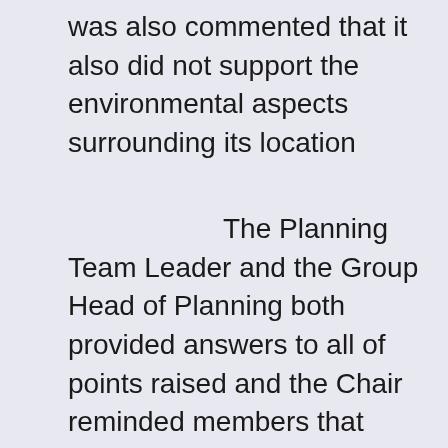was also commented that it also did not support the environmental aspects surrounding its location
The Planning Team Leader and the Group Head of Planning both provided answers to all of points raised and the Chair reminded members that even if there was a bus stop along the road, most would be more likely to get into their car to travel and that this issue was not central to this application.
The recommendation was then duly proposed and seconded.
The Committee